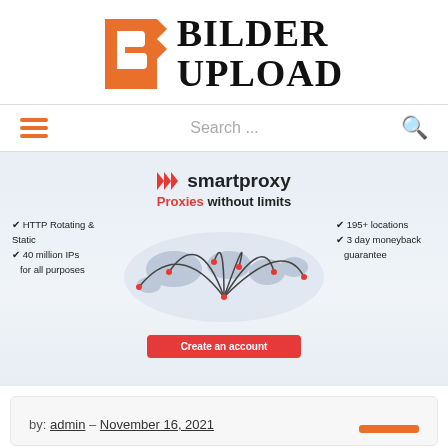[Figure (logo): BilderUpload logo with orange B icon and bold serif text BILDER UPLOAD]
Search ...
[Figure (screenshot): Smartproxy advertisement banner: 'smartproxy - Proxies without limits', HTTP Rotating & Static, 40 million IPs for all purposes, 195+ locations, 3 day moneyback guarantee, world map graphic, Create an account button]
by: admin – November 16, 2021